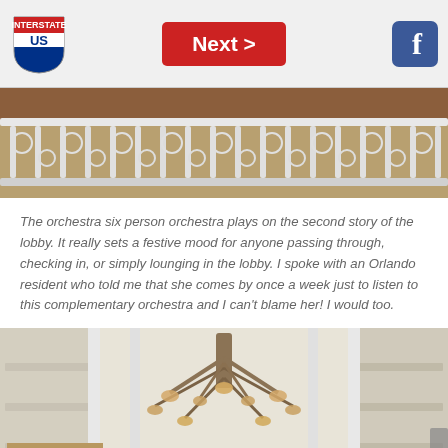Next >
[Figure (photo): Close-up of ornate white wrought iron railing on second story of hotel lobby]
The orchestra six person orchestra plays on the second story of the lobby. It really sets a festive mood for anyone passing through, checking in, or simply lounging in the lobby. I spoke with an Orlando resident who told me that she comes by once a week just to listen to this complementary orchestra and I can't blame her! I would too.
[Figure (photo): Grand hotel lobby interior with large ornate chandelier and multi-story white columns and balconies]